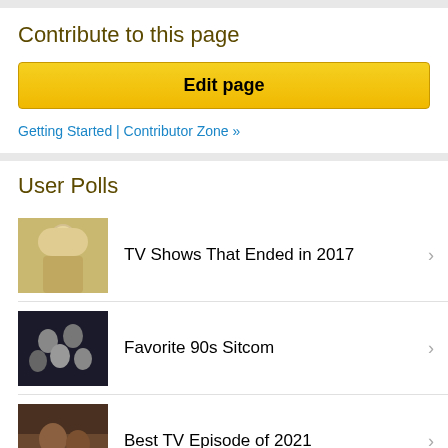Contribute to this page
Edit page
Getting Started | Contributor Zone »
User Polls
TV Shows That Ended in 2017
Favorite 90s Sitcom
Best TV Episode of 2021